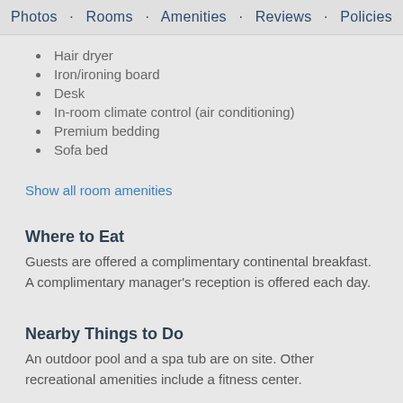Photos · Rooms · Amenities · Reviews · Policies
Hair dryer
Iron/ironing board
Desk
In-room climate control (air conditioning)
Premium bedding
Sofa bed
Show all room amenities
Where to Eat
Guests are offered a complimentary continental breakfast. A complimentary manager's reception is offered each day.
Nearby Things to Do
An outdoor pool and a spa tub are on site. Other recreational amenities include a fitness center.